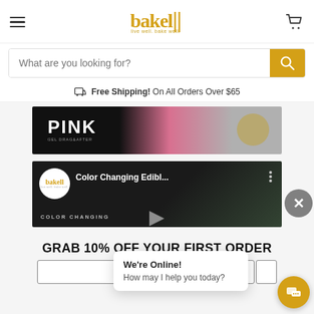[Figure (screenshot): Bakell website header with hamburger menu, logo, and cart icon]
[Figure (screenshot): Search bar with placeholder 'What are you looking for?' and golden search button]
Free Shipping! On All Orders Over $65
[Figure (photo): Pink banner image with text PINK]
[Figure (screenshot): Video thumbnail for Color Changing Edibl... with Bakell logo circle and play button]
GRAB 10% OFF YOUR FIRST ORDER
[Figure (screenshot): Chat popup: We're Online! How may I help you today?]